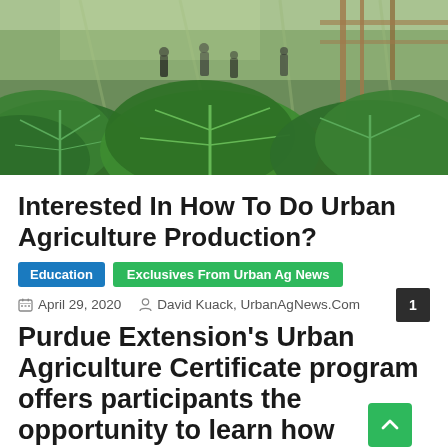[Figure (photo): Greenhouse interior with large leafy green plants (cabbage-like), people visible in background walking along rows of crops under glass roof structure.]
Interested In How To Do Urban Agriculture Production?
Education  Exclusives From Urban Ag News
April 29, 2020  David Kuack, UrbanAgNews.Com
Purdue Extension's Urban Agriculture Certificate program offers participants the opportunity to learn how